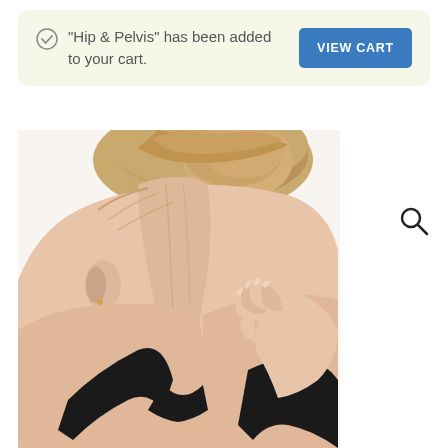"Hip & Pelvis" has been added to your cart.
[Figure (photo): Back view of a woman with blonde hair in an updo, wearing a black sports bra, reaching her hand to touch the back of her neck/shoulder area, suggesting neck or shoulder pain.]